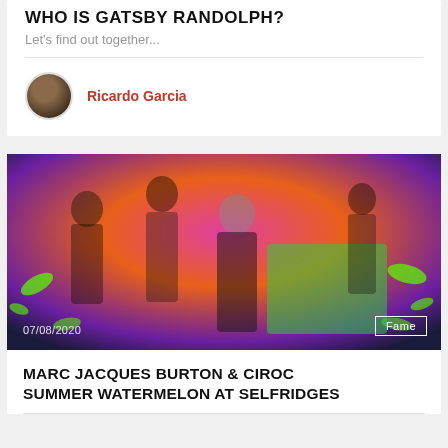WHO IS GATSBY RANDOLPH?
Let's find out together...
Ricardo Garcia
[Figure (photo): Group photo of four people posing against a vivid pink-orange-green background with date 07/08/2020 and Fame badge]
MARC JACQUES BURTON & CIROC SUMMER WATERMELON AT SELFRIDGES